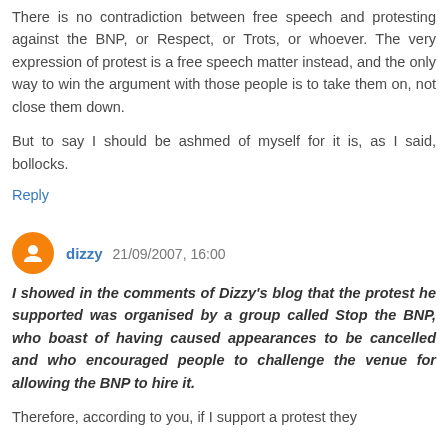There is no contradiction between free speech and protesting against the BNP, or Respect, or Trots, or whoever. The very expression of protest is a free speech matter instead, and the only way to win the argument with those people is to take them on, not close them down.
But to say I should be ashmed of myself for it is, as I said, bollocks.
Reply
dizzy 21/09/2007, 16:00
I showed in the comments of Dizzy's blog that the protest he supported was organised by a group called Stop the BNP, who boast of having caused appearances to be cancelled and who encouraged people to challenge the venue for allowing the BNP to hire it.
Therefore, according to you, if I support a protest they